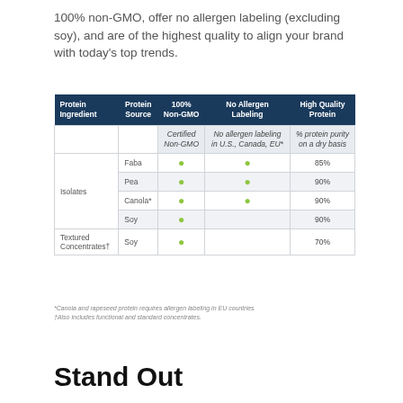100% non-GMO, offer no allergen labeling (excluding soy), and are of the highest quality to align your brand with today's top trends.
| Protein Ingredient | Protein Source | 100% Non-GMO | No Allergen Labeling | High Quality Protein |
| --- | --- | --- | --- | --- |
|  |  | Certified Non-GMO | No allergen labeling in U.S., Canada, EU* | % protein purity on a dry basis |
| Isolates | Faba | • | • | 85% |
| Isolates | Pea | • | • | 90% |
| Isolates | Canola* | • | • | 90% |
| Isolates | Soy | • |  | 90% |
| Textured Concentrates† | Soy | • |  | 70% |
*Canola and rapeseed protein requires allergen labeling in EU countries
†Also includes functional and standard concentrates.
Stand Out